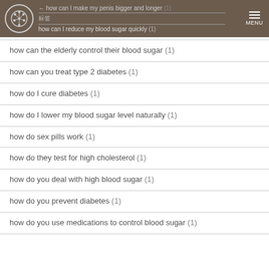how can I make my penis bigger and longer (1) | 标签 | how can I reduce my blood sugar quickly (1) | MENU
how can the elderly control their blood sugar (1)
how can you treat type 2 diabetes (1)
how do I cure diabetes (1)
how do I lower my blood sugar level naturally (1)
how do sex pills work (1)
how do they test for high cholesterol (1)
how do you deal with high blood sugar (1)
how do you prevent diabetes (1)
how do you use medications to control blood sugar (1)